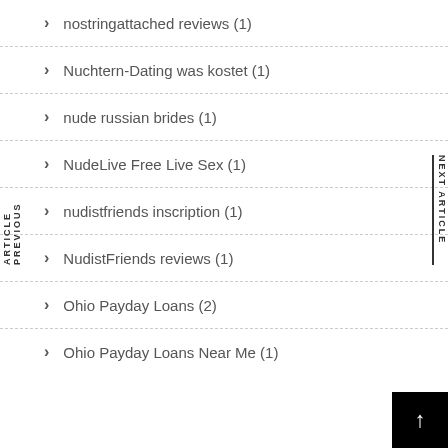nostringattached reviews (1)
Nuchtern-Dating was kostet (1)
nude russian brides (1)
NudeLive Free Live Sex (1)
nudistfriends inscription (1)
NudistFriends reviews (1)
Ohio Payday Loans (2)
Ohio Payday Loans Near Me (1)